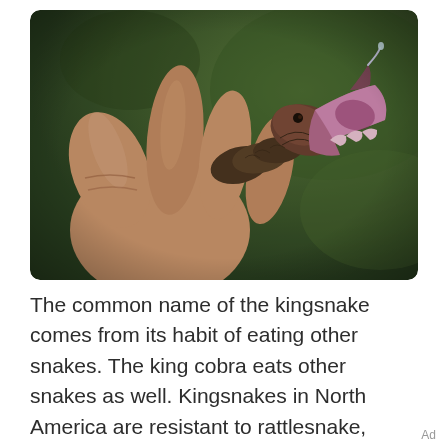[Figure (photo): A close-up photograph of a hand holding a small snake with its mouth wide open, showing the pink interior of its mouth and a curved fang with a droplet. The background is dark green and blurred.]
The common name of the kingsnake comes from its habit of eating other snakes. The king cobra eats other snakes as well. Kingsnakes in North America are resistant to rattlesnake, copperhead, and cottonmouth venom. Resistance is
Ad